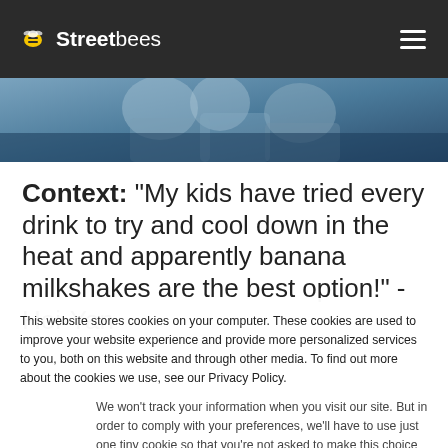Streetbees
[Figure (photo): Partial view of people, photo strip partially visible at top of page]
Context: “My kids have tried every drink to try and cool down in the heat and apparently banana milkshakes are the best option!” - Hoi-Yan
This website stores cookies on your computer. These cookies are used to improve your website experience and provide more personalized services to you, both on this website and through other media. To find out more about the cookies we use, see our Privacy Policy.
We won’t track your information when you visit our site. But in order to comply with your preferences, we’ll have to use just one tiny cookie so that you’re not asked to make this choice again.
Accept
Decline